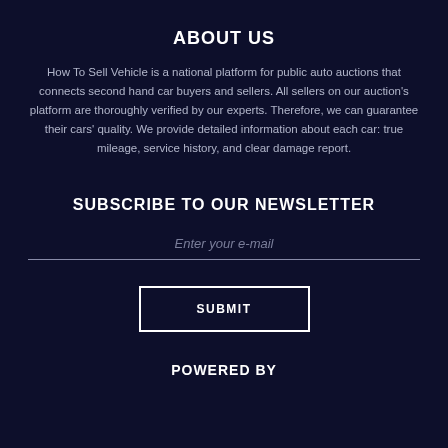ABOUT US
How To Sell Vehicle is a national platform for public auto auctions that connects second hand car buyers and sellers. All sellers on our auction's platform are thoroughly verified by our experts. Therefore, we can guarantee their cars' quality. We provide detailed information about each car: true mileage, service history, and clear damage report.
SUBSCRIBE TO OUR NEWSLETTER
Enter your e-mail
SUBMIT
POWERED BY